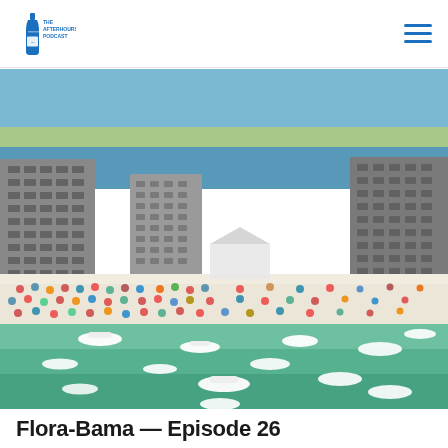The Afterhours Podcast
[Figure (photo): Aerial drone view of a crowded Florida/Alabama beach scene with tall hotel buildings on the left and right, packed beach with colorful umbrellas and tents, boats anchored in turquoise-green Gulf water in the foreground, and a bay/inlet visible in the background.]
Flora-Bama — Episode 26